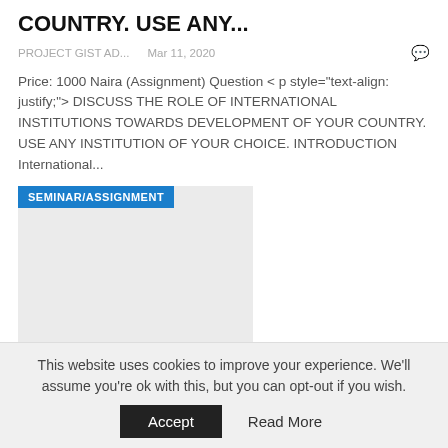COUNTRY. USE ANY...
PROJECT GIST AD...   Mar 11, 2020
Price: 1000 Naira (Assignment) Question < p style="text-align: justify;"> DISCUSS THE ROLE OF INTERNATIONAL INSTITUTIONS TOWARDS DEVELOPMENT OF YOUR COUNTRY. USE ANY INSTITUTION OF YOUR CHOICE. INTRODUCTION International...
[Figure (other): Card image with SEMINAR/ASSIGNMENT badge on grey background]
Critically, compare and contrast between the Western economic model and Chinese economic
This website uses cookies to improve your experience. We'll assume you're ok with this, but you can opt-out if you wish. Accept   Read More